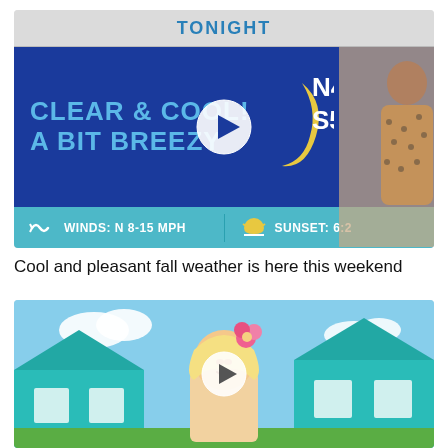[Figure (screenshot): Weather forecast thumbnail showing a TV weather broadcast. Blue background with text TONIGHT at top, main panel showing CLEAR & COOL! A BIT BREEZY with a crescent moon icon, wind speed N 4, S 5, bottom bar showing WINDS: N 8-15 MPH and SUNSET: 6:2. A female weather presenter stands to the right. Play button overlay in center.]
Cool and pleasant fall weather is here this weekend
[Figure (screenshot): Video thumbnail showing a woman with blonde hair and a pink flower accessory standing in front of a teal/turquoise cartoon-style house backdrop. Play button overlay visible.]